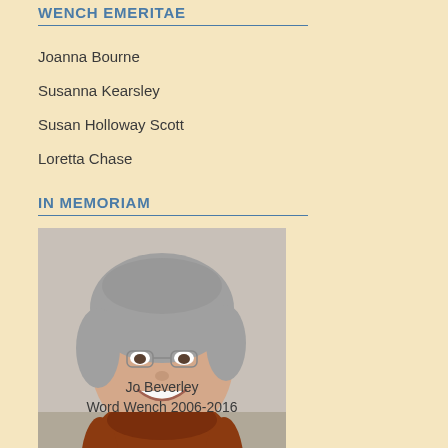WENCH EMERITAE
Joanna Bourne
Susanna Kearsley
Susan Holloway Scott
Loretta Chase
IN MEMORIAM
[Figure (photo): Headshot of Jo Beverley, a woman with short gray hair, smiling, wearing a red top.]
Jo Beverley
Word Wench 2006-2016
[Figure (photo): Partial headshot of a woman with long red-brown hair.]